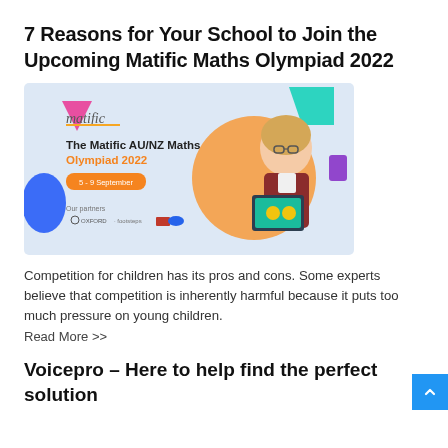7 Reasons for Your School to Join the Upcoming Matific Maths Olympiad 2022
[Figure (illustration): Banner image for The Matific AU/NZ Maths Olympiad 2022, 5-9 September. Shows the Matific logo, bold text headline in orange and black, a girl holding a tablet with Matific app, partner logos (Oxford, Footsteps), and colorful geometric shapes on a light blue background.]
Competition for children has its pros and cons. Some experts believe that competition is inherently harmful because it puts too much pressure on young children.
Read More >>
Voicepro – Here to help find the perfect solution